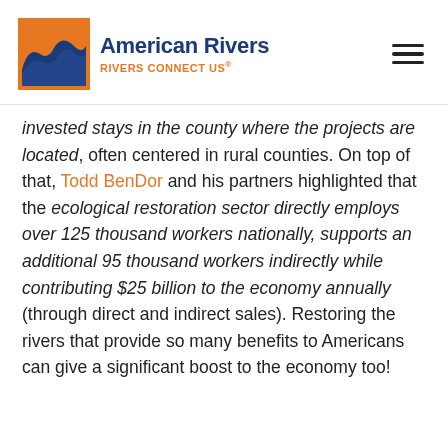[Figure (logo): American Rivers logo with orange wave graphic and text 'American Rivers – RIVERS CONNECT US']
invested stays in the county where the projects are located, often centered in rural counties. On top of that, Todd BenDor and his partners highlighted that the ecological restoration sector directly employs over 125 thousand workers nationally, supports an additional 95 thousand workers indirectly while contributing $25 billion to the economy annually (through direct and indirect sales). Restoring the rivers that provide so many benefits to Americans can give a significant boost to the economy too!